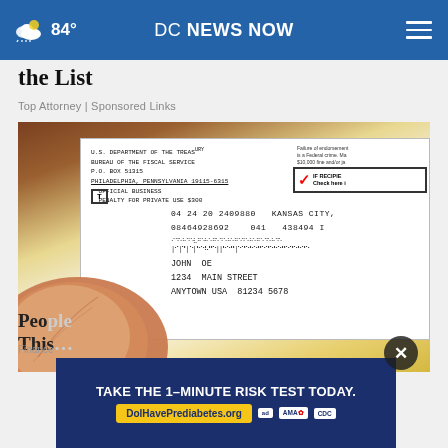84° DC NEWS NOW
the List
Top Attorney | Sponsored Links
[Figure (photo): A hand holding a U.S. Treasury Department / Bureau of the Fiscal Service check. The check shows sender address: P.O. Box 51315, Philadelphia, Pennsylvania 19115-6315, OFFICIAL BUSINESS, PENALTY FOR PRIVATE USE $300. Check number area shows: 04 24 20 2409880 KANSAS CITY, 08464928692 041 438494 I. Recipient: JOHN OE, 1234 MAIN STREET, ANYTOWN USA 81234 5678. Right side shows endorsement text and IF RECIPIE checkbox with red checkmark.]
Peo…
This…
TAKE THE 1-MINUTE RISK TEST TODAY. DolHavePrediabetes.org
Finance